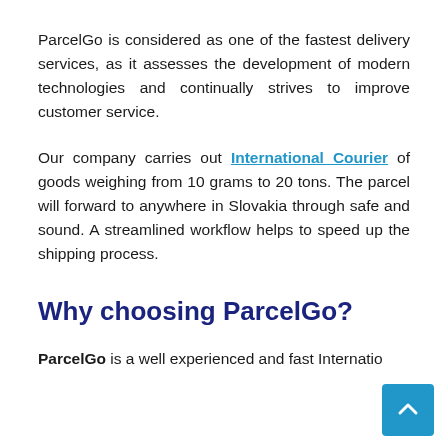ParcelGo is considered as one of the fastest delivery services, as it assesses the development of modern technologies and continually strives to improve customer service.
Our company carries out International Courier of goods weighing from 10 grams to 20 tons. The parcel will forward to anywhere in Slovakia through safe and sound. A streamlined workflow helps to speed up the shipping process.
Why choosing ParcelGo?
ParcelGo is a well experienced and fast International Courier Service and the fastest delivery for...